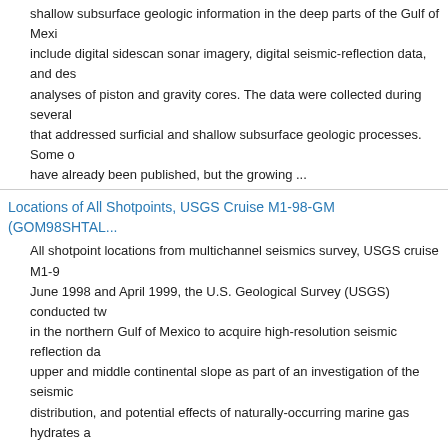shallow subsurface geologic information in the deep parts of the Gulf of Mexico include digital sidescan sonar imagery, digital seismic-reflection data, and des analyses of piston and gravity cores. The data were collected during several that addressed surficial and shallow subsurface geologic processes. Some o have already been published, but the growing ...
Locations of All Shotpoints, USGS Cruise M1-98-GM (GOM98SHTAL...
All shotpoint locations from multichannel seismics survey, USGS cruise M1-9 June 1998 and April 1999, the U.S. Geological Survey (USGS) conducted tw in the northern Gulf of Mexico to acquire high-resolution seismic reflection da upper and middle continental slope as part of an investigation of the seismic distribution, and potential effects of naturally-occurring marine gas hydrates a gas within the gas hydrate stability zone. Over 1600 ...
R/V GYRE cruise G1-99-GM (99002) multi channel seismic tracklines (GOM99LMCS.SHP)
This GIS data layer represents the tracklines along which multichannel seism collected during USGS cruise G1-99-GM aboard the R/V GYRE. Seismic dat in the Gulf of Mexico along 1,268 km of tracklines on the upper and middle c offshore of Texas and Louisiana to study the distribution and acoustic nature this region.
Tracklines for Chirp profiles collected during the 2002 MARION DUFF (02018) in the Gulf of Mexico (MD02CHIRPLN.SHP)
Since 1982, the U.S. Geological Survey (USGS) has collected a large amo...